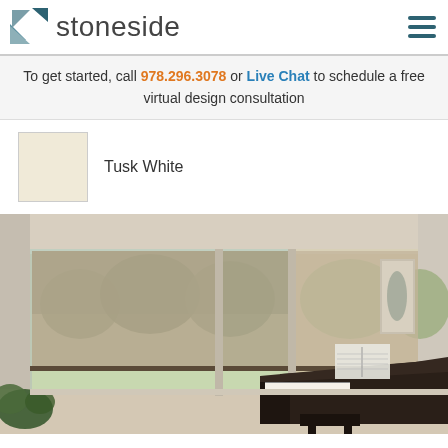stoneside
To get started, call 978.296.3078 or Live Chat to schedule a free virtual design consultation
[Figure (illustration): Cream/off-white color swatch labeled 'Tusk White']
Tusk White
[Figure (photo): Interior room with large windows covered by solar shades, a grand piano with sheet music, and house plants.]
Solar Shades Create Harmony For A Musician